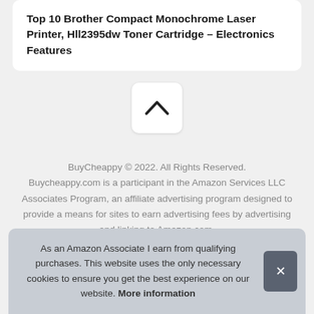Top 10 Brother Compact Monochrome Laser Printer, Hll2395dw Toner Cartridge – Electronics Features
[Figure (other): Upward chevron/caret button in a white rounded square card]
BuyCheappy © 2022. All Rights Reserved. Buycheappy.com is a participant in the Amazon Services LLC Associates Program, an affiliate advertising program designed to provide a means for sites to earn advertising fees by advertising and linking to Amazon.com.
As an Amazon Associate I earn from qualifying purchases. This website uses the only necessary cookies to ensure you get the best experience on our website. More information